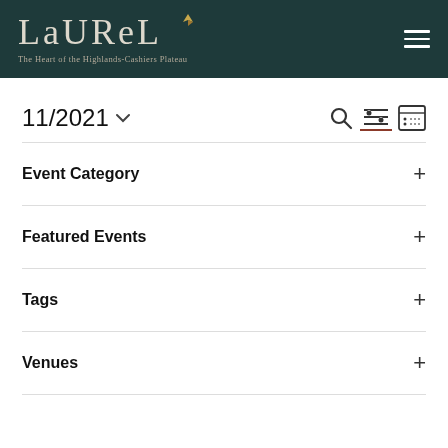LAUREL — The Heart of the Highlands-Cashiers Plateau
11/2021
Event Category
Featured Events
Tags
Venues